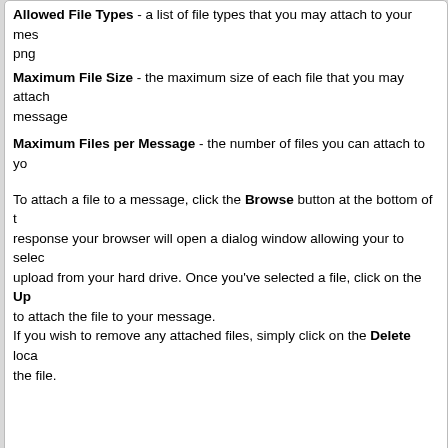Allowed File Types - a list of file types that you may attach to your message, e.g. png
Maximum File Size - the maximum size of each file that you may attach to a message
Maximum Files per Message - the number of files you can attach to your message
To attach a file to a message, click the Browse button at the bottom of the response your browser will open a dialog window allowing your to select a file to upload from your hard drive. Once you've selected a file, click on the Up to attach the file to your message.
If you wish to remove any attached files, simply click on the Delete loca the file.
What's a post icon?
Post icons are small images that you can choose to show beside your m are most commonly used to indicate the nature of your message or the trying to convey. If you do not see those icons on the post form, it means administrator has disabled this feature.